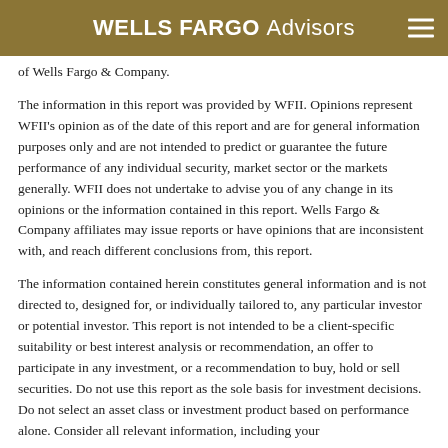WELLS FARGO Advisors
of Wells Fargo & Company.
The information in this report was provided by WFII. Opinions represent WFII's opinion as of the date of this report and are for general information purposes only and are not intended to predict or guarantee the future performance of any individual security, market sector or the markets generally. WFII does not undertake to advise you of any change in its opinions or the information contained in this report. Wells Fargo & Company affiliates may issue reports or have opinions that are inconsistent with, and reach different conclusions from, this report.
The information contained herein constitutes general information and is not directed to, designed for, or individually tailored to, any particular investor or potential investor. This report is not intended to be a client-specific suitability or best interest analysis or recommendation, an offer to participate in any investment, or a recommendation to buy, hold or sell securities. Do not use this report as the sole basis for investment decisions. Do not select an asset class or investment product based on performance alone. Consider all relevant information, including your